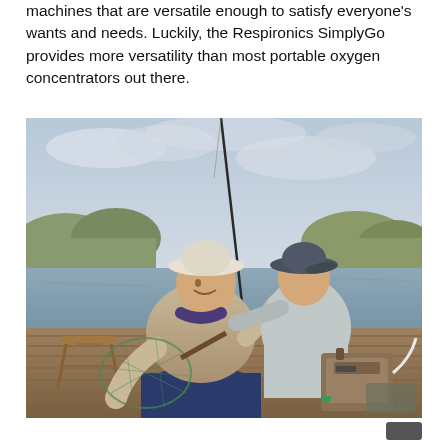machines that are versatile enough to satisfy everyone's wants and needs. Luckily, the Respironics SimplyGo provides more versatility than most portable oxygen concentrators out there.
[Figure (photo): An older man and a young boy fishing together on a wooden dock by a lake. The man is holding a fishing net and laughing, while the boy stands behind him with his hand on the man's shoulder. A portable oxygen concentrator (Respironics SimplyGo) is visible on the dock beside them. Trees and a river/lake are in the background under an overcast sky.]